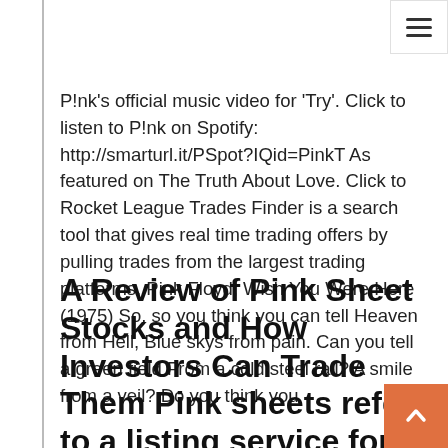P!nk's official music video for 'Try'. Click to listen to P!nk on Spotify: http://smarturl.it/PSpot?IQid=PinkT As featured on The Truth About Love. Click to Rocket League Trades Finder is a search tool that gives real time trading offers by pulling trades from the largest trading platforms. Pink Floyd, Wish You Were Here (1975) So, so you think you can tell Heaven from Hell, Blue skys from pain. Can you tell a green field From a cold steel rail? A smile from a veil? Do you think you
A Review of Pink Sheet Stocks and How Investors Can Trade Them Pink sheets refer to a listing service for stocks that trade over-the-counter (OTC). Pink sheet companies are not usually listed on a